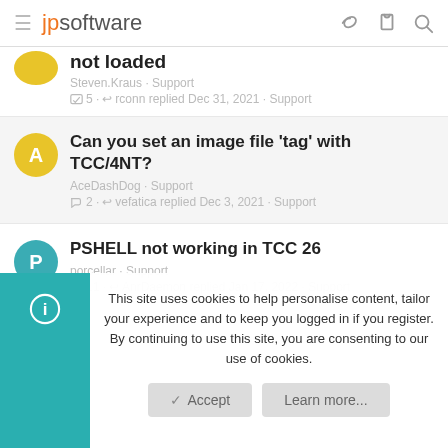jpsoftware
not loaded
Steven.Kraus · Support
5 · rconn replied Dec 31, 2021 · Support
Can you set an image file 'tag' with TCC/4NT?
AceDashDog · Support
2 · vefatica replied Dec 3, 2021 · Support
PSHELL not working in TCC 26
porcellar · Support
11 · AnrDaemon replied Jan 17, 2022 · Support
This site uses cookies to help personalise content, tailor your experience and to keep you logged in if you register.
By continuing to use this site, you are consenting to our use of cookies.
Accept
Learn more...